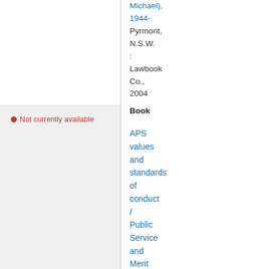Michael), 1944-
Pyrmont, N.S.W.
:
Lawbook Co.,
2004
Book
Not currently available
APS values and standards of conduct / Public Service and Merit Protection Commission Canberra